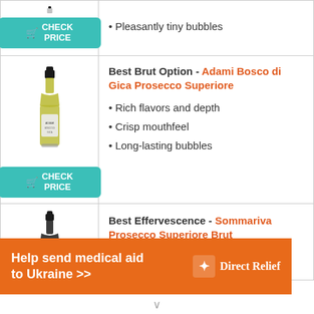Pleasantly tiny bubbles
[Figure (illustration): Bottle of Adami Bosco di Gica Prosecco Superiore wine with teal CHECK PRICE button below]
Best Brut Option - Adami Bosco di Gica Prosecco Superiore
Rich flavors and depth
Crisp mouthfeel
Long-lasting bubbles
[Figure (illustration): Bottle of Sommariva Prosecco Superiore Brut wine]
Best Effervescence - Sommariva Prosecco Superiore Brut
[Figure (infographic): Orange Direct Relief ad banner: Help send medical aid to Ukraine with Direct Relief logo]